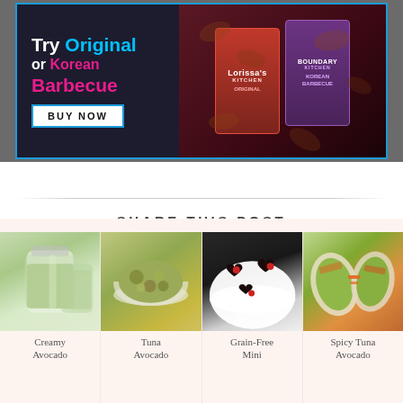[Figure (illustration): Advertisement banner for Lorissa's Kitchen meat snacks. Text reads 'Try Original or Korean Barbecue' with a BUY NOW button. Shows product packages on dark background.]
SHARE THIS POST
[Figure (infographic): Social share icons: Facebook (f), Twitter (bird), Pinterest (P), Email (envelope) in olive/dark green color]
[Figure (photo): Creamy Avocado dressing in a glass jar]
[Figure (photo): Tuna Avocado salad in a bowl]
[Figure (photo): Grain-Free Mini chocolate heart-shaped treats on a plate with strawberries]
[Figure (photo): Spicy Tuna Avocado wraps on a platter]
Creamy Avocado
Tuna Avocado
Grain-Free Mini
Spicy Tuna Avocado